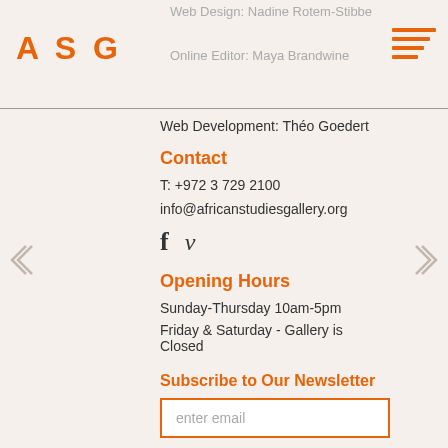ASG | Web Design: Nadine Rotem-Stibbe | Online Editor: Maya Brandwine
Web Development: Théo Goedert
Contact
T: +972 3 729 2100
info@africanstudiesgallery.org
[Figure (other): Social media icons: Facebook and Vine]
Opening Hours
Sunday-Thursday 10am-5pm
Friday & Saturday - Gallery is Closed
Subscribe to Our Newsletter
enter email
Submit